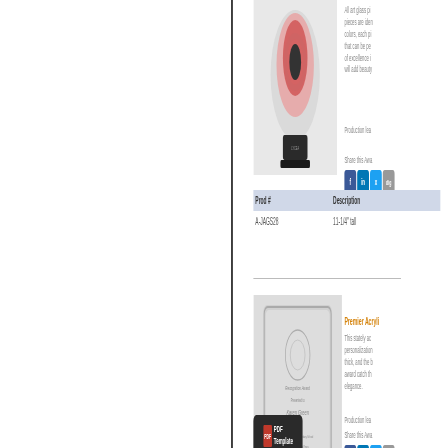[Figure (photo): Art glass award trophy - teardrop shape with pink/red swirling design on black base]
All art glass pieces are identical in colors, each piece that can be personalized of excellence is will add beauty
Production lea
Share this Awa
| Prod # | Description |
| --- | --- |
| A-JAGS28 | 11-1/4" tall |
[Figure (photo): Premier Acrylic award plaque - clear rectangular acrylic block with engraved text and wreath logo]
Premier Acryli
This stately ac personalization thick, and the b award catch th elegance.
Production lea
Share this Awa
[Figure (other): PDF Template button - dark background with PDF icon and text 'PDF Template']